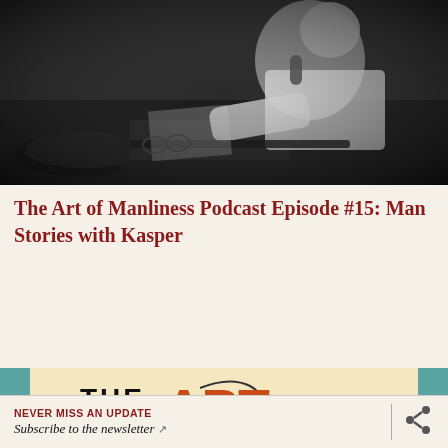[Figure (photo): Black and white photograph of a man working at a desk with audio/recording equipment, leaning forward with papers]
The Art of Manliness Podcast Episode #15: Man Stories with Kasper
[Figure (logo): The Art of Manliness logo/banner — shows 'THE ART' text in vintage style with decorative swirl, teal border, orange/red lettering on cream background]
NEVER MISS AN UPDATE
Subscribe to the newsletter